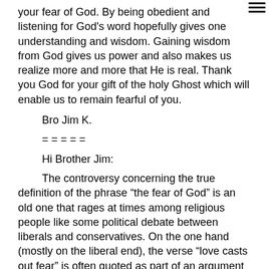your fear of God. By being obedient and listening for God's word hopefully gives one understanding and wisdom. Gaining wisdom from God gives us power and also makes us realize more and more that He is real. Thank you God for your gift of the holy Ghost which will enable us to remain fearful of you.
Bro Jim K.
= = = = =
Hi Brother Jim:
The controversy concerning the true definition of the phrase “the fear of God” is an old one that rages at times among religious people like some political debate between liberals and conservatives. On the one hand (mostly on the liberal end), the verse “love casts out fear” is often quoted as part of an argument that the phrase “fear of God” does not include a sense of fright. On the other hand (usually among conservatives), room is made for frightfulness, even if it is not the main ingredient of “the fear of God”. By the grace of God, we are set free from the controversy altogether.